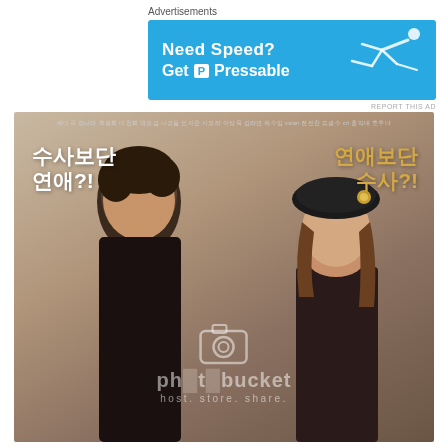Advertisements
[Figure (photo): Blue banner advertisement for Pressable hosting: 'Need Speed? Get Pressable' with a running/flying man silhouette on right side]
REPORT THIS AD
[Figure (photo): Korean drama promotional poster showing two actors (male in black, female in black beret with gold brooch). Korean text reads: 수사보단 연애?! (left) and 연애보단 수사?! (right). Photobucket watermark overlay. Small cast credits at top.]